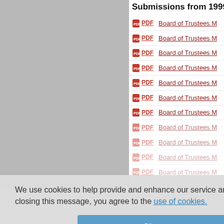Submissions from 1999
PDF  Board of Trustees M
PDF  Board of Trustees M
PDF  Board of Trustees M
PDF  Board of Trustees M
PDF  Board of Trustees M
PDF  Board of Trustees M
PDF  Board of Trustees M
PDF  Board of Trustees M
PDF  Board of Trustees M
PDF  Board of Trustees M
PDF  Board of Trustees M
We use cookies to help provide and enhance our service and tailor content. By closing this message, you agree to the use of cookies.
Close